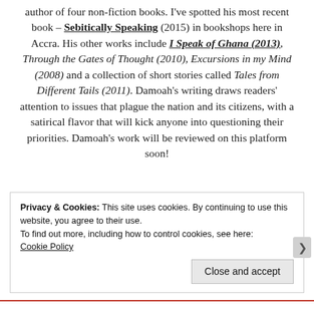author of four non-fiction books. I've spotted his most recent book – Sebitically Speaking (2015) in bookshops here in Accra. His other works include I Speak of Ghana (2013), Through the Gates of Thought (2010), Excursions in my Mind (2008) and a collection of short stories called Tales from Different Tails (2011). Damoah's writing draws readers' attention to issues that plague the nation and its citizens, with a satirical flavor that will kick anyone into questioning their priorities. Damoah's work will be reviewed on this platform soon!
Privacy & Cookies: This site uses cookies. By continuing to use this website, you agree to their use. To find out more, including how to control cookies, see here: Cookie Policy
Close and accept